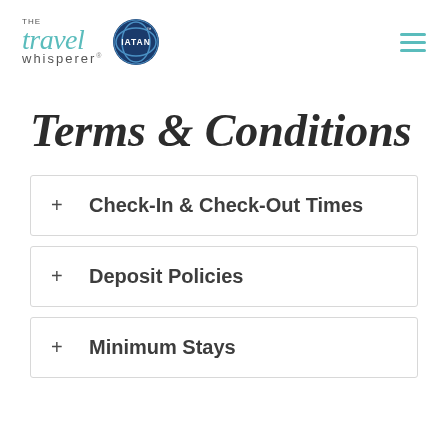THE travel whisperer | IATAN
Terms & Conditions
+ Check-In & Check-Out Times
+ Deposit Policies
+ Minimum Stays